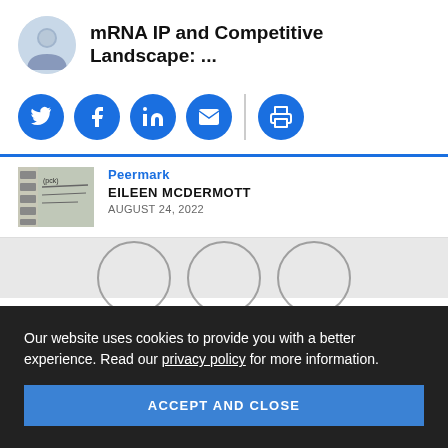mRNA IP and Competitive Landscape: ...
[Figure (infographic): Social sharing icons: Twitter, Facebook, LinkedIn, Email, Print]
[Figure (photo): Article thumbnail image with film strip appearance and partial text 'peermark']
Peermark
EILEEN MCDERMOTT
AUGUST 24, 2022
Our website uses cookies to provide you with a better experience. Read our privacy policy for more information.
ACCEPT AND CLOSE